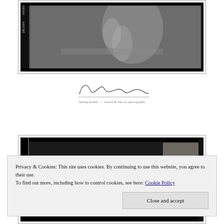[Figure (photo): Black and white film photograph showing a person at a table with a glass, film strip edge visible on left with KODAK 400TMZ text]
[Figure (logo): Cursive signature logo reading Ludwig Desmet with subtitle 'ludwig desmet | beauty & fine art photography']
[Figure (photo): Black and white film photograph, mostly dark, showing a person or figure, second image in series]
Privacy & Cookies: This site uses cookies. By continuing to use this website, you agree to their use.
To find out more, including how to control cookies, see here: Cookie Policy
Close and accept